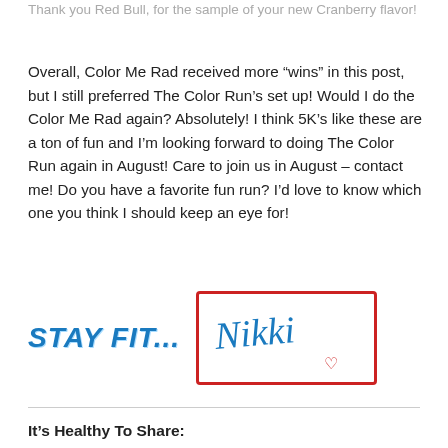Thank you Red Bull, for the sample of your new Cranberry flavor!
Overall, Color Me Rad received more “wins” in this post, but I still preferred The Color Run’s set up! Would I do the Color Me Rad again? Absolutely! I think 5K’s like these are a ton of fun and I’m looking forward to doing The Color Run again in August! Care to join us in August – contact me! Do you have a favorite fun run? I’d love to know which one you think I should keep an eye for!
[Figure (illustration): Signature block with 'STAY FIT...' in bold blue italic text and a handwritten 'Nikki' signature with a small heart inside a red hand-drawn rectangle border]
It’s Healthy To Share: